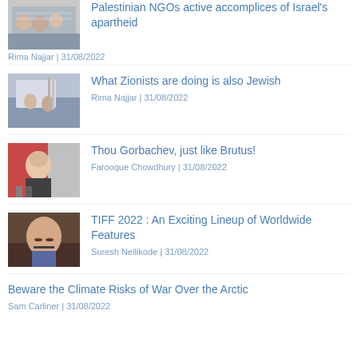[Figure (photo): People gathered around a table, article thumbnail]
Diplomatic missions in solidarity with Palestinian NGOs active accomplices of Israel's apartheid
Rima Najjar | 31/08/2022
[Figure (photo): People near an airplane, article thumbnail]
What Zionists are doing is also Jewish
Rima Najjar | 31/08/2022
[Figure (photo): Portrait of Gorbachev at microphone, article thumbnail]
Thou Gorbachev, just like Brutus!
Farooque Chowdhury | 31/08/2022
[Figure (photo): Man with mustache, article thumbnail]
TIFF 2022 : An Exciting Lineup of Worldwide Features
Suresh Nellikode | 31/08/2022
Beware the Climate Risks of War Over the Arctic
Sam Carliner | 31/08/2022